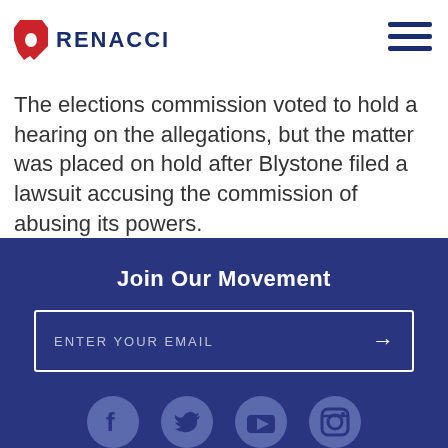RENACCI
The elections commission voted to hold a hearing on the allegations, but the matter was placed on hold after Blystone filed a lawsuit accusing the commission of abusing its powers.
Join Our Movement
ENTER YOUR EMAIL
[Figure (logo): Social media icons: Facebook, Twitter, YouTube, Instagram]